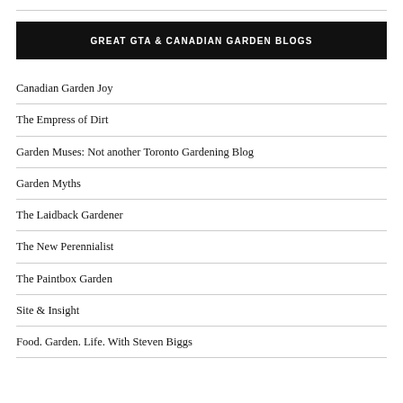GREAT GTA & CANADIAN GARDEN BLOGS
Canadian Garden Joy
The Empress of Dirt
Garden Muses: Not another Toronto Gardening Blog
Garden Myths
The Laidback Gardener
The New Perennialist
The Paintbox Garden
Site & Insight
Food. Garden. Life. With Steven Biggs